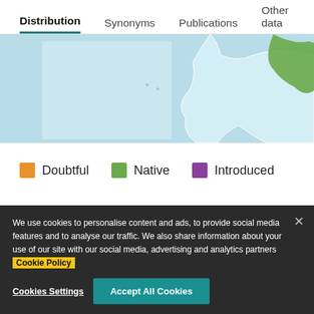Distribution  Synonyms  Publications  Other data
[Figure (map): Partial map showing South America and surrounding ocean. Some regions highlighted in light blue (ocean/water), one region in green (native range), and rectangular highlighted region in light blue. White landmass outlines visible.]
Doubtful  Native  Introduced
We use cookies to personalise content and ads, to provide social media features and to analyse our traffic. We also share information about your use of our site with our social media, advertising and analytics partners Cookie Policy
Cookies Settings
Accept All Cookies